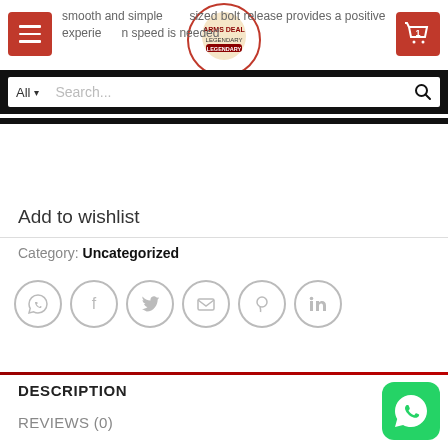smooth and simple sized bolt release provides a positive experience when speed is needed
Add to wishlist
Category: Uncategorized
[Figure (illustration): Social sharing icons row: WhatsApp, Facebook, Twitter, Email, Pinterest, LinkedIn — grey circle outline icons]
DESCRIPTION
REVIEWS (0)
[Figure (logo): Green WhatsApp floating button in bottom right corner]